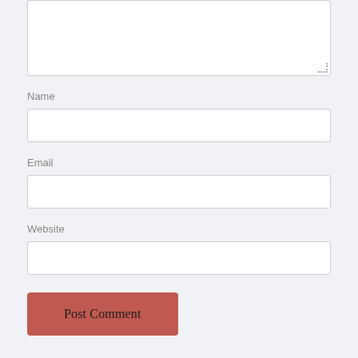[Figure (screenshot): Top portion of a comment form textarea, partially visible at the top of the page, with a resize handle at the bottom-right corner.]
Name
[Figure (screenshot): Empty text input field for Name]
Email
[Figure (screenshot): Empty text input field for Email]
Website
[Figure (screenshot): Empty text input field for Website]
Post Comment